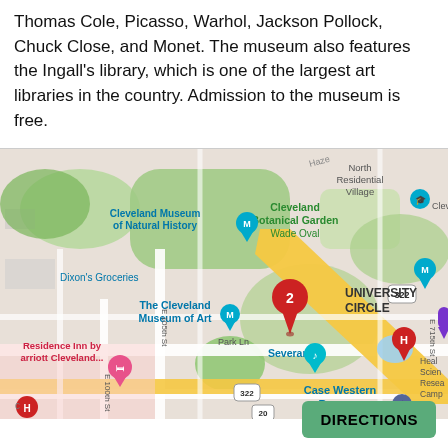Thomas Cole, Picasso, Warhol, Jackson Pollock, Chuck Close, and Monet. The museum also features the Ingall's library, which is one of the largest art libraries in the country. Admission to the museum is free.
[Figure (map): Google Maps screenshot showing University Circle area in Cleveland, Ohio. Landmarks visible include Cleveland Museum of Natural History, Cleveland Botanical Garden / Wade Oval, The Cleveland Museum of Art, Severance, Case Western Reserve University, Residence Inn by Marriott Cleveland, Dixon's Groceries. A red map pin labeled '2' is placed near The Cleveland Museum of Art. Various map pins and icons are visible including blue location markers, a hospital marker, and route 322 and 20 signs. A yellow diagonal road cuts through the map.]
DIRECTIONS